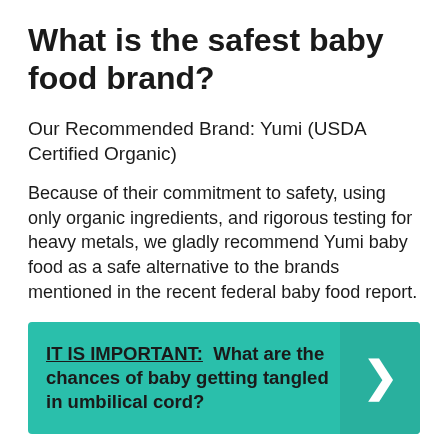What is the safest baby food brand?
Our Recommended Brand: Yumi (USDA Certified Organic)
Because of their commitment to safety, using only organic ingredients, and rigorous testing for heavy metals, we gladly recommend Yumi baby food as a safe alternative to the brands mentioned in the recent federal baby food report.
IT IS IMPORTANT:  What are the chances of baby getting tangled in umbilical cord?